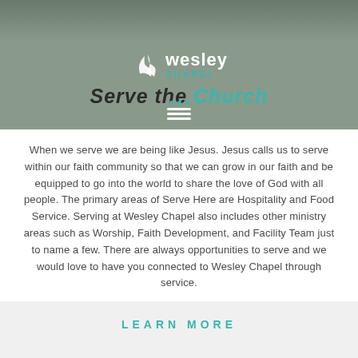[Figure (photo): Header photo showing people at Wesley Chapel, dark/muted tones]
Wesley Chapel — Serve the Church
Serve the Church
When we serve we are being like Jesus. Jesus calls us to serve within our faith community so that we can grow in our faith and be equipped to go into the world to share the love of God with all people. The primary areas of Serve Here are Hospitality and Food Service. Serving at Wesley Chapel also includes other ministry areas such as Worship, Faith Development, and Facility Team just to name a few. There are always opportunities to serve and we would love to have you connected to Wesley Chapel through service.
LEARN MORE